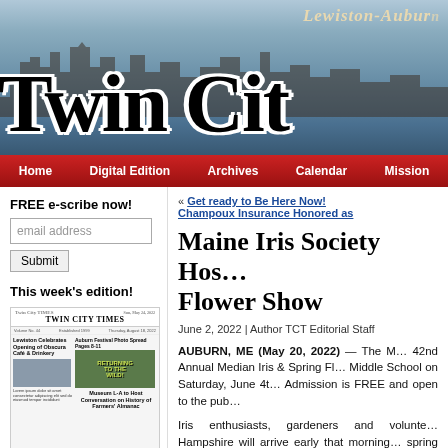[Figure (photo): Twin City Times newspaper website header banner showing city skyline/waterfront photo with large 'Twin City' masthead text and 'Lewiston-Auburn' text]
Home | Digital Edition | Archives | Calendar | Mission
FREE e-scribe now!
email address
Submit
This week's edition!
[Figure (screenshot): Thumbnail of Twin City Times newspaper front page]
« Get ready to Be Here Now!
Champoux Insurance Honored as
Maine Iris Society Hos… Flower Show
June 2, 2022 | Author TCT Editorial Staff
AUBURN, ME (May 20, 2022) — The M… 42nd Annual Median Iris & Spring Fl… Middle School on Saturday, June 4t… Admission is FREE and open to the pub…
Iris enthusiasts, gardeners and volunte… Hampshire will arrive early that morning… spring flowers for display. They are jud… accredited American Iris Societ…